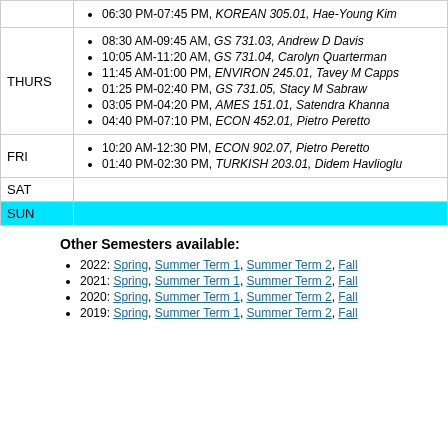| Day | Events |
| --- | --- |
|  | 06:30 PM-07:45 PM, KOREAN 305.01, Hae-Young Kim |
| THURS | 08:30 AM-09:45 AM, GS 731.03, Andrew D Davis; 10:05 AM-11:20 AM, GS 731.04, Carolyn Quarterman; 11:45 AM-01:00 PM, ENVIRON 245.01, Tavey M Capps; 01:25 PM-02:40 PM, GS 731.05, Stacy M Sabraw; 03:05 PM-04:20 PM, AMES 151.01, Satendra Khanna; 04:40 PM-07:10 PM, ECON 452.01, Pietro Peretto |
| FRI | 10:20 AM-12:30 PM, ECON 902.07, Pietro Peretto; 01:40 PM-02:30 PM, TURKISH 203.01, Didem Havlioglu |
| SAT |  |
| SUN |  |
Other Semesters available:
2022: Spring, Summer Term 1, Summer Term 2, Fall
2021: Spring, Summer Term 1, Summer Term 2, Fall
2020: Spring, Summer Term 1, Summer Term 2, Fall
2019: Spring, Summer Term 1, Summer Term 2, Fall